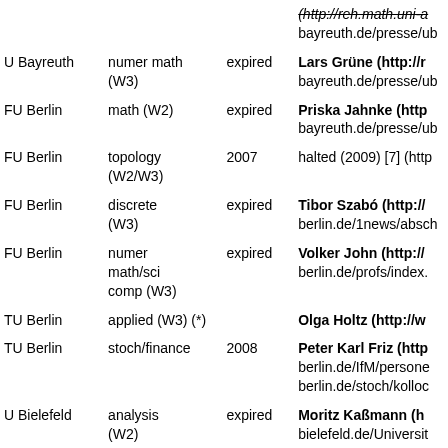| Institution | Field | Year | Info |
| --- | --- | --- | --- |
|  |  |  | (http://reh.math.uni-a bayreuth.de/presse/ub |
| U Bayreuth | numer math (W3) | expired | Lars Grüne (http://r bayreuth.de/presse/ub |
| FU Berlin | math (W2) | expired | Priska Jahnke (http bayreuth.de/presse/ub |
| FU Berlin | topology (W2/W3) | 2007 | halted (2009) [7] (http |
| FU Berlin | discrete (W3) | expired | Tibor Szabó (http:// berlin.de/1news/absch |
| FU Berlin | numer math/sci comp (W3) | expired | Volker John (http:// berlin.de/profs/index. |
| TU Berlin | applied (W3) (*) |  | Olga Holtz (http://w |
| TU Berlin | stoch/finance | 2008 | Peter Karl Friz (http berlin.de/IfM/persone berlin.de/stoch/kolloc |
| U Bielefeld | analysis (W2) | expired | Moritz Kaßmann (h bielefeld.de/Universit |
| U Bonn | stoch (W2) | expired | Patrik Ferrari (http (http://www.hochschu Wilhelms-Universitae |
| U Bonn | all math |  | Stefan Müller (http: |